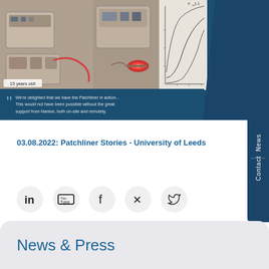[Figure (photo): Top banner with three images: old laboratory equipment labeled '15 years old!', electrophysiology patch clamp setup with red light, and scientific graphs/curves. Dark blue background.]
We're delighted that we have the Patchliner in action... This would not have been possible without the great support from Nanion, both on-site and remotely.
Patchliner Stories
Contact News
03.08.2022: Patchliner Stories - University of Leeds
[Figure (infographic): Social media icons: LinkedIn, YouTube, Facebook, Xing, Twitter]
News & Press